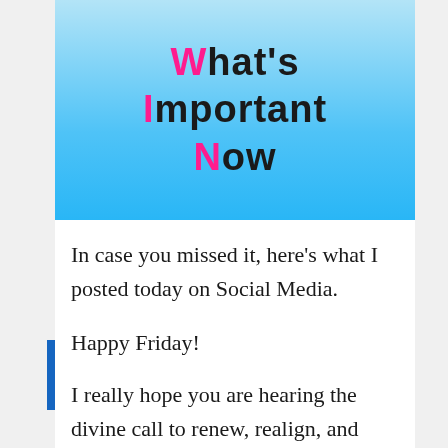[Figure (infographic): Blue gradient banner with text 'What's Important Now' where W, I, N are in pink/magenta and the rest of the letters are black, bold, large font on light blue to sky blue gradient background.]
In case you missed it, here's what I posted today on Social Media.
Happy Friday!
I really hope you are hearing the divine call to renew, realign, and reset your priorities. But first, you must disconnect, deprogram, and detox from unnecessary